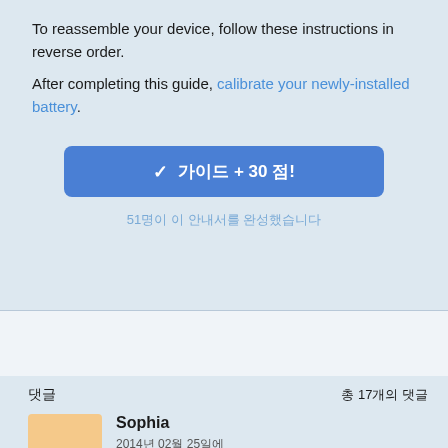To reassemble your device, follow these instructions in reverse order.
After completing this guide, calibrate your newly-installed battery.
[Figure (other): Blue button with checkmark and Korean text '가이드 + 30 점!' indicating guide completion reward]
51명이 이 안내서를 완성했습니다
댓글
총 17개의 댓글
Sophia
2014년 02월 25일에